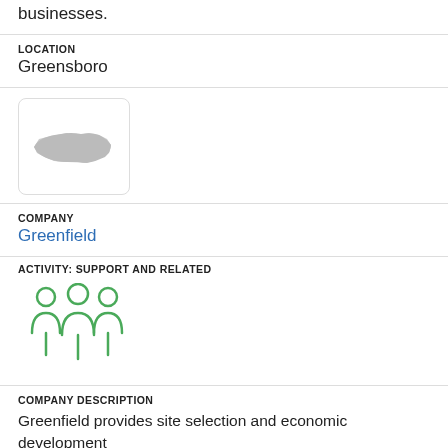businesses.
LOCATION
Greensboro
[Figure (logo): North Carolina state silhouette logo in a rounded rectangle box]
COMPANY
Greenfield
ACTIVITY: SUPPORT AND RELATED
[Figure (illustration): Green icon of three people representing support and related activity]
COMPANY DESCRIPTION
Greenfield provides site selection and economic development consulting services including business development, recruitment, and